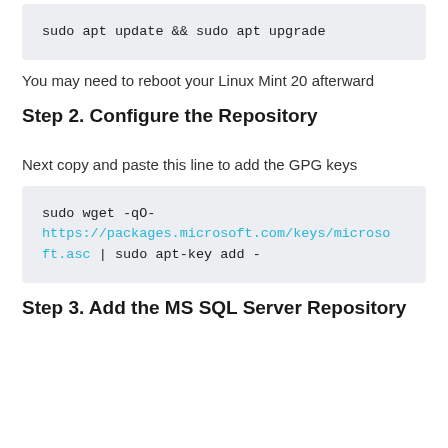sudo apt update && sudo apt upgrade
You may need to reboot your Linux Mint 20 afterward
Step 2. Configure the Repository
Next copy and paste this line to add the GPG keys
sudo wget -qO- https://packages.microsoft.com/keys/microsoft.asc | sudo apt-key add -
Step 3. Add the MS SQL Server Repository